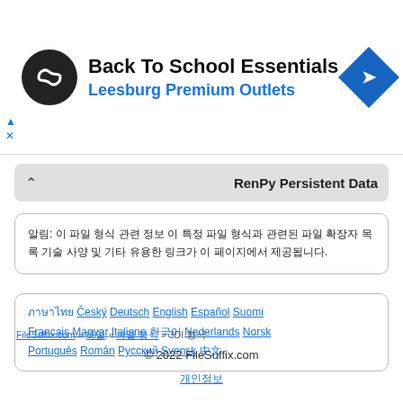[Figure (infographic): Advertisement banner: circular logo with infinity symbol on black background, text 'Back To School Essentials' and 'Leesburg Premium Outlets', blue diamond arrow icon. Ad close controls (triangle and X) on left.]
RenPy Persistent Data
알림: 이 파일 형식 관련 정보 이 특정 파일 형식과 관련된 파일 확장자 목록 기술 사양 및 기타 유용한 링크가 이 페이지에서 제공됩니다.
ภาษาไทย Český Deutsch English Español Suomi Français Magyar Italiano 한국어 Nederlands Norsk Português Român Русский Svensk 中文
FileSuffix.com » 파일 » 파일 형식 » 3DI 형식
© 2022 FileSuffix.com
개인정보